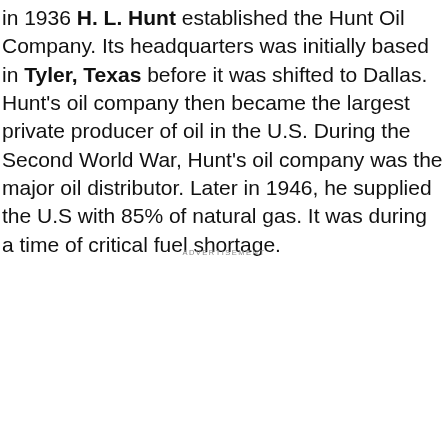in 1936 H. L. Hunt established the Hunt Oil Company. Its headquarters was initially based in Tyler, Texas before it was shifted to Dallas. Hunt's oil company then became the largest private producer of oil in the U.S. During the Second World War, Hunt's oil company was the major oil distributor. Later in 1946, he supplied the U.S with 85% of natural gas. It was during a time of critical fuel shortage.
ADVERTISEMENT